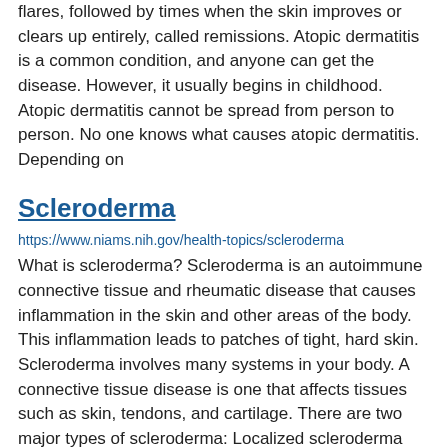flares, followed by times when the skin improves or clears up entirely, called remissions. Atopic dermatitis is a common condition, and anyone can get the disease. However, it usually begins in childhood. Atopic dermatitis cannot be spread from person to person. No one knows what causes atopic dermatitis. Depending on
Scleroderma
https://www.niams.nih.gov/health-topics/scleroderma
What is scleroderma? Scleroderma is an autoimmune connective tissue and rheumatic disease that causes inflammation in the skin and other areas of the body. This inflammation leads to patches of tight, hard skin. Scleroderma involves many systems in your body. A connective tissue disease is one that affects tissues such as skin, tendons, and cartilage. There are two major types of scleroderma: Localized scleroderma only affects the skin and the structures directly under the skin. Systemic scleroderma, also called systemic sclerosis, affects many systems in the body. This is the more serious type of scleroderma and can damage your blood
Psoriasis
https://www.niams.nih.gov/health-topics/psoriasis
What is psoriasis? Psoriasis is a chronic (long-lasting) disease in which the immune system works too much, causing patches of skin